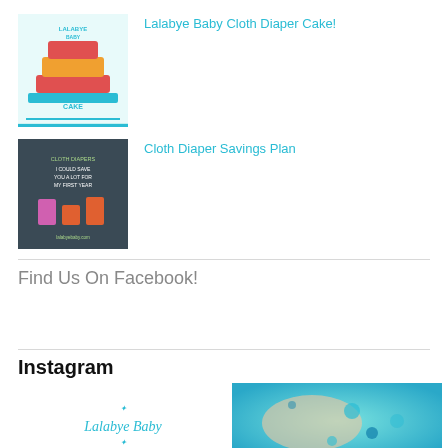Lalabye Baby Cloth Diaper Cake!
Cloth Diaper Savings Plan
Find Us On Facebook!
Instagram
[Figure (photo): Lalabye Baby logo/brand photo for Instagram]
[Figure (photo): Baby in teal water/bubbles photo for Instagram]